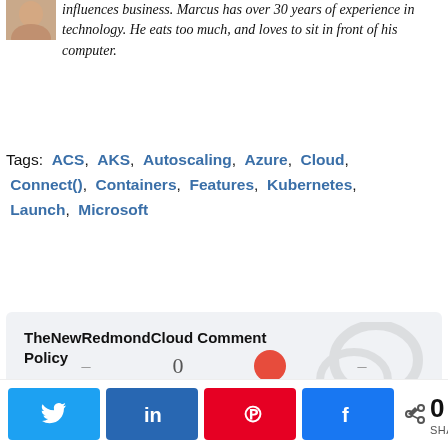[Figure (photo): Partial photo of a person (headshot, cropped)]
influences business. Marcus has over 30 years of experience in technology. He eats too much, and loves to sit in front of his computer.
Tags: ACS, AKS, Autoscaling, Azure, Cloud, Connect(), Containers, Features, Kubernetes, Launch, Microsoft
TheNewRedmondCloud Comment Policy
We welcome thoughtful and civilized discussion. We also reserve the right to edit or delete comments as necessary.